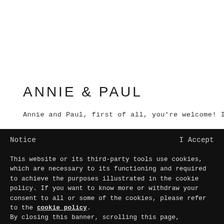ANNIE & PAUL
Annie and Paul, first of all, you're welcome! It is always an
Notice
I Accept
This website or its third-party tools use cookies, which are necessary to its functioning and required to achieve the purposes illustrated in the cookie policy. If you want to know more or withdraw your consent to all or some of the cookies, please refer to the cookie policy. By closing this banner, scrolling this page, clicking a link or continuing to browse otherwise, you agree to the use of cookies.